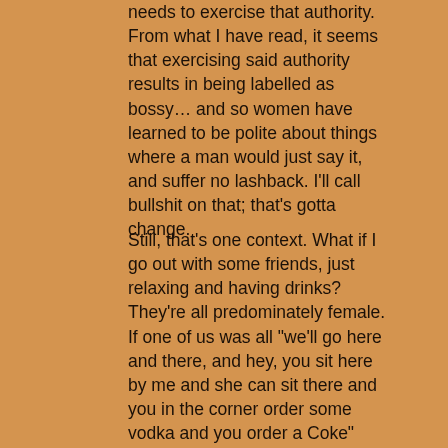needs to exercise that authority. From what I have read, it seems that exercising said authority results in being labelled as bossy… and so women have learned to be polite about things where a man would just say it, and suffer no lashback. I'll call bullshit on that; that's gotta change.
Still, that's one context. What if I go out with some friends, just relaxing and having drinks? They're all predominately female. If one of us was all "we'll go here and there, and hey, you sit here by me and she can sit there and you in the corner order some vodka and you order a Coke" and other such statements… I would say she's being bossy, simply because what she's doing matches the dictionary definition.